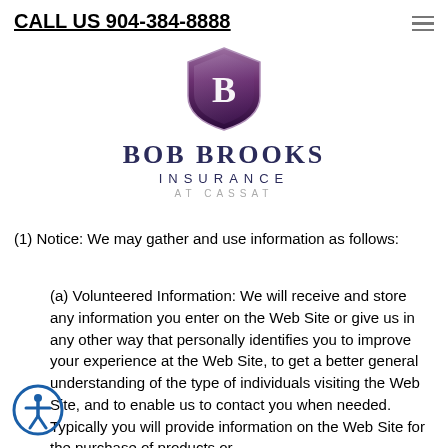CALL US 904-384-8888
[Figure (logo): Bob Brooks Insurance at Cassat logo with shield emblem containing letter B, dark purple/maroon colors]
(1) Notice: We may gather and use information as follows:
(a) Volunteered Information: We will receive and store any information you enter on the Web Site or give us in any other way that personally identifies you to improve your experience at the Web Site, to get a better general understanding of the type of individuals visiting the Web Site, and to enable us to contact you when needed. Typically you will provide information on the Web Site for the purchase of products or